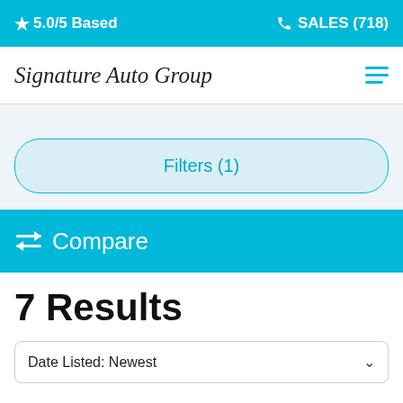★ 5.0/5 Based   📞 SALES (718)
Signature Auto Group
Filters (1)
⇄ Compare
7 Results
Date Listed: Newest